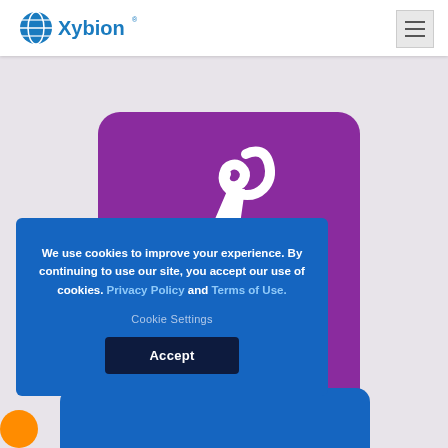[Figure (logo): Xybion logo with globe icon and wordmark in blue]
[Figure (other): Hamburger menu icon button in top right corner]
[Figure (illustration): Purple rounded square tile with white microscope icon and 'Pathology' label in white bold text]
We use cookies to improve your experience. By continuing to use our site, you accept our use of cookies. Privacy Policy and Terms of Use.
Cookie Settings
Accept